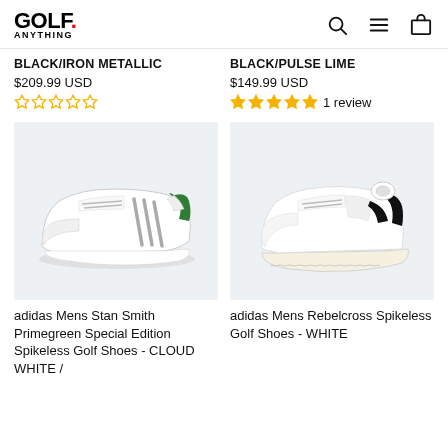GOLF ANYTHING
BLACK/IRON METALLIC
$209.99 USD
☆☆☆☆☆ (no reviews)
BLACK/PULSE LIME
$149.99 USD
★★★★★ 1 review
[Figure (photo): adidas Mens Stan Smith Primegreen Special Edition Spikeless Golf Shoes - CLOUD WHITE / green heel tab, side view on light grey background]
adidas Mens Stan Smith Primegreen Special Edition Spikeless Golf Shoes - CLOUD WHITE /
[Figure (photo): adidas Mens Rebelcross Spikeless Golf Shoes - WHITE, white shoe with black accent and off-white sole, side view on light grey background]
adidas Mens Rebelcross Spikeless Golf Shoes - WHITE